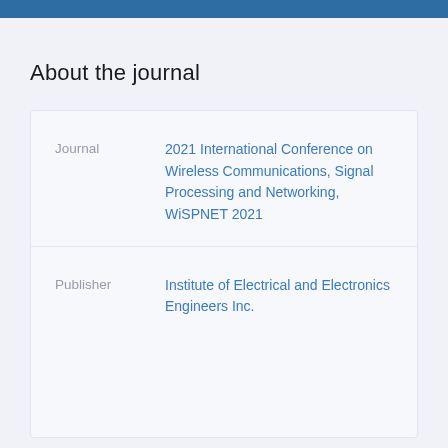About the journal
| Field | Value |
| --- | --- |
| Journal | 2021 International Conference on Wireless Communications, Signal Processing and Networking, WiSPNET 2021 |
| Publisher | Institute of Electrical and Electronics Engineers Inc. |